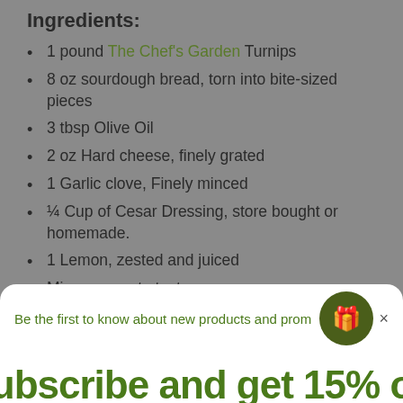Ingredients:
1 pound The Chef's Garden Turnips
8 oz sourdough bread, torn into bite-sized pieces
3 tbsp Olive Oil
2 oz Hard cheese, finely grated
1 Garlic clove, Finely minced
¼ Cup of Cesar Dressing, store bought or homemade.
1 Lemon, zested and juiced
Microgreens to taste
Micro Herbs to taste
Black Pepper to taste
Be the first to know about new products and promo